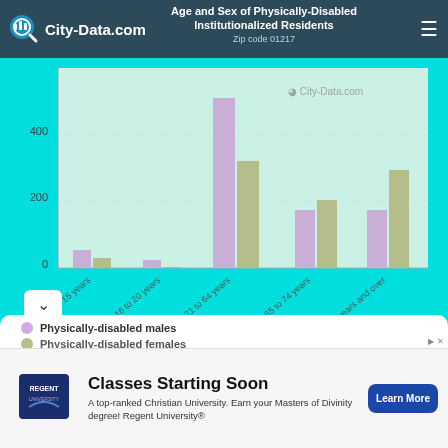Age and Sex of Physically-Disabled Institutionalized Residents
Zip code 01217
[Figure (grouped-bar-chart): Age and Sex of Physically-Disabled Institutionalized Residents]
Physically-disabled males
Physically-disabled females
Classes Starting Soon
A top-ranked Christian University. Earn your Masters of Divinity degree! Regent University®
Learn More